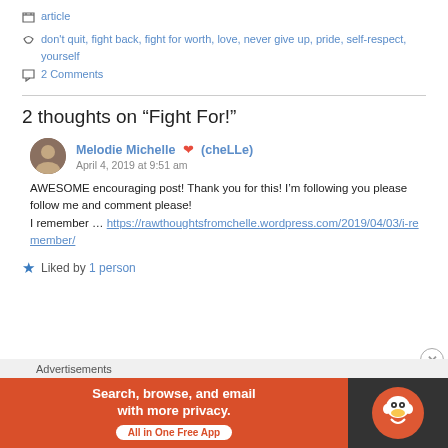article
don't quit, fight back, fight for worth, love, never give up, pride, self-respect, yourself
2 Comments
2 thoughts on “Fight For!”
Melodie Michelle ❤ (cheLLe)
April 4, 2019 at 9:51 am
AWESOME encouraging post! Thank you for this! I’m following you please follow me and comment please!
I remember … https://rawthoughtsfromchelle.wordpress.com/2019/04/03/i-remember/
Liked by 1 person
[Figure (infographic): DuckDuckGo advertisement banner: orange background with text 'Search, browse, and email with more privacy. All in One Free App' and DuckDuckGo duck logo on dark background]